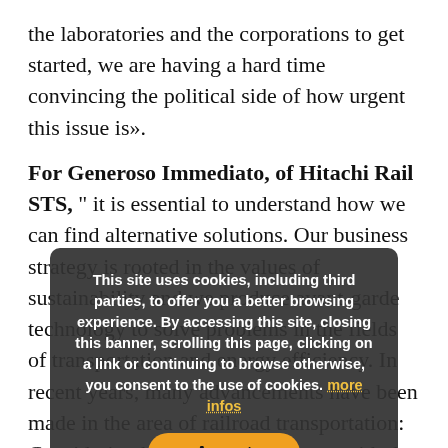the laboratories and the corporations to get started, we are having a hard time convincing the political side of how urgent this issue is».
For Generoso Immediato, of Hitachi Rail STS, " it is essential to understand how we can find alternative solutions. Our business strategy is rooted in the values of sustainability and we produce avant-garde technology to solve problems in the fields of transportation and energy efficiency. In recent years, many advancements have been made in the area of railroad transportation: Considering how the train interacts with the power supply, it is surely the … as a means of transportation. We can borrow good ideas from the way it works, from an engineering point of view:
This site uses cookies, including third parties, to offer you a better browsing experience. By accessing this site, closing this banner, scrolling this page, clicking on a link or continuing to browse otherwise, you consent to the use of cookies. more infos